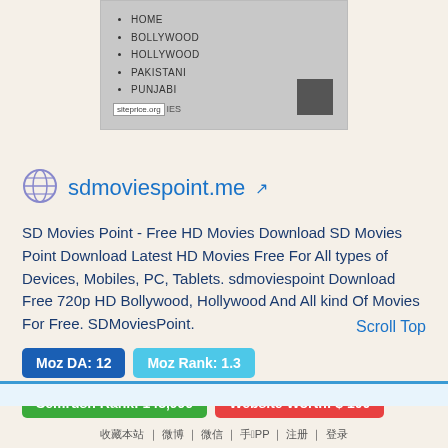[Figure (screenshot): Website navigation menu screenshot showing HOME, BOLLYWOOD, HOLLYWOOD, PAKISTANI, PUNJABI list items with siteprice.org badge and IES text]
sdmoviespoint.me
SD Movies Point - Free HD Movies Download SD Movies Point Download Latest HD Movies Free For All types of Devices, Mobiles, PC, Tablets. sdmoviespoint Download Free 720p HD Bollywood, Hollywood And All kind Of Movies For Free. SDMoviesPoint.
Scroll Top
Moz DA: 12
Moz Rank: 1.3
Semrush Rank: 148,999
Website Worth: $ 100
收藏本站 | 微博 | 微信 | 手机APP | 注册 | 登录